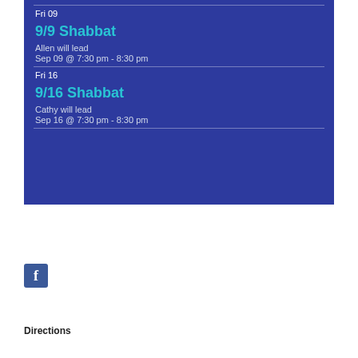Fri 09
9/9 Shabbat
Allen will lead
Sep 09 @ 7:30 pm - 8:30 pm
Fri 16
9/16 Shabbat
Cathy will lead
Sep 16 @ 7:30 pm - 8:30 pm
[Figure (logo): Facebook logo icon — blue square with white 'f']
Directions